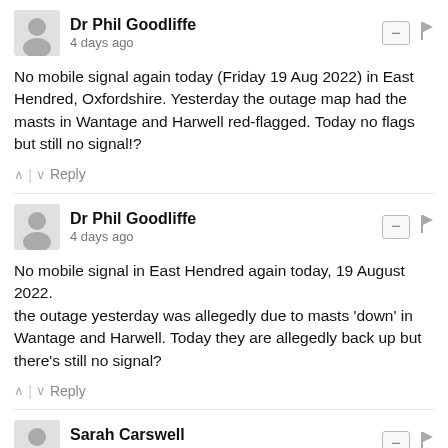Dr Phil Goodliffe
4 days ago
No mobile signal again today (Friday 19 Aug 2022) in East Hendred, Oxfordshire. Yesterday the outage map had the masts in Wantage and Harwell red-flagged. Today no flags but still no signal!?
↑ | ↓  Reply
Dr Phil Goodliffe
4 days ago
No mobile signal in East Hendred again today, 19 August 2022.
the outage yesterday was allegedly due to masts 'down' in Wantage and Harwell. Today they are allegedly back up but there's still no signal?
↑ | ↓  Reply
Sarah Carswell
4 days ago
Broadband down Wf10 4ad still not fixed
↑ | ↓  Reply